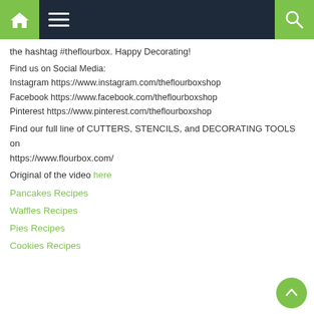Navigation bar with home, menu, and search icons
the hashtag #theflourbox. Happy Decorating!
Find us on Social Media:
Instagram https://www.instagram.com/theflourboxshop
Facebook https://www.facebook.com/theflourboxshop
Pinterest https://www.pinterest.com/theflourboxshop
Find our full line of CUTTERS, STENCILS, and DECORATING TOOLS on https://www.flourbox.com/
Original of the video here
Pancakes Recipes
Waffles Recipes
Pies Recipes
Cookies Recipes